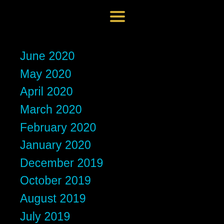[Figure (other): Hamburger menu icon with three horizontal yellow lines]
June 2020
May 2020
April 2020
March 2020
February 2020
January 2020
December 2019
October 2019
August 2019
July 2019
June 2019
May 2019
April 2019
March 2019
February 2019
January 2019